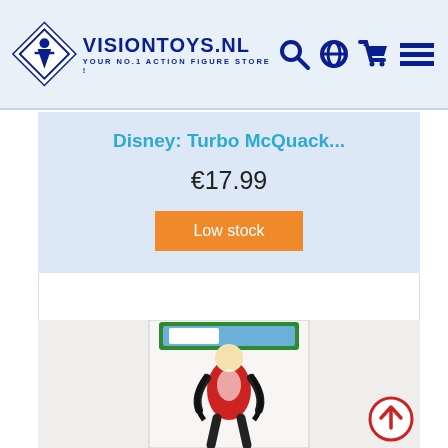[Figure (logo): VisionToys.nl logo with diamond shape icon and navigation icons (search, globe, cart, menu)]
Disney: Turbo McQuack...
€17.99
Low stock
[Figure (photo): Product photo of Disney Turbo McQuack figure in plastic packaging, showing a figure in a heroic pose with red costume elements]